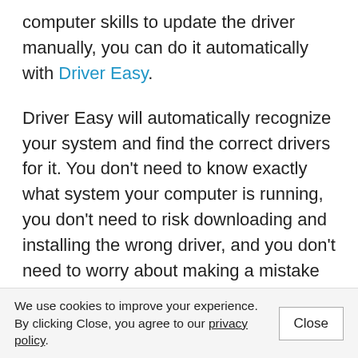computer skills to update the driver manually, you can do it automatically with Driver Easy.
Driver Easy will automatically recognize your system and find the correct drivers for it. You don’t need to know exactly what system your computer is running, you don’t need to risk downloading and installing the wrong driver, and you don’t need to worry about making a mistake when installing.
We use cookies to improve your experience. By clicking Close, you agree to our privacy policy.